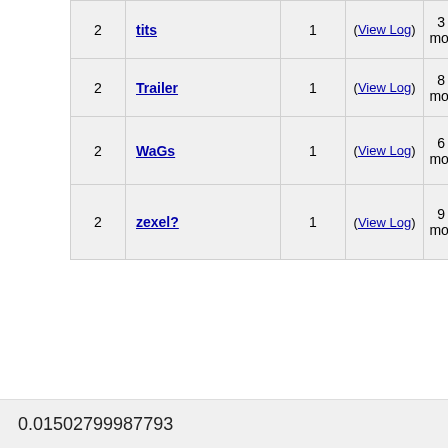|  | Name | Count | Log | Last edited |
| --- | --- | --- | --- | --- |
| 2 | tits | 1 | (View Log) | 3 years 6 months ago |
| 2 | Trailer | 1 | (View Log) | 8 years 9 months ago |
| 2 | WaGs | 1 | (View Log) | 6 years 4 months ago |
| 2 | zexel? | 1 | (View Log) | 9 years 6 months ago |
0.01502799987793